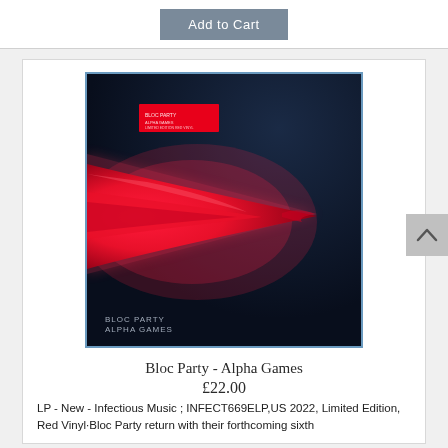Add to Cart
[Figure (photo): Album cover for Bloc Party - Alpha Games. Dark navy/black background with a large glowing red/pink angular shape (resembling a tooth or blade) in the center. A red sticker label is visible in the upper left. Text at the bottom left reads 'BLOC PARTY ALPHA GAMES'.]
Bloc Party - Alpha Games
£22.00
LP - New - Infectious Music ; INFECT669ELP,US 2022, Limited Edition, Red Vinyl·Bloc Party return with their forthcoming sixth